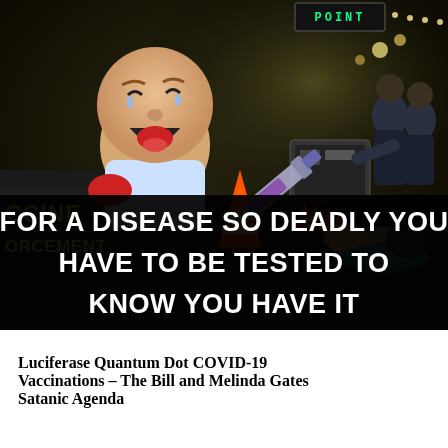[Figure (photo): Composite anti-vaccine meme image showing a crying baby being held by person in vest labeled 'CCINE ORCEMENT' (vaccine enforcement), large syringe, checkpoint scene with orange traffic cones and police officers restraining a woman, LED sign reading 'POINT' at top right. Black bar at bottom contains large white bold text.]
Luciferase Quantum Dot COVID-19 Vaccinations – The Bill and Melinda Gates Satanic Agenda